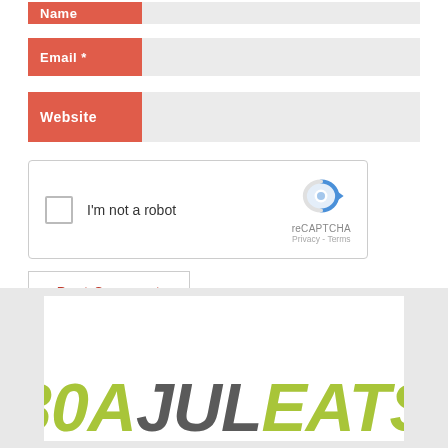[Figure (screenshot): Web form with Name field (partially visible at top), Email *, and Website text input fields with coral/red label backgrounds]
[Figure (screenshot): reCAPTCHA widget with checkbox labeled 'I'm not a robot' and reCAPTCHA logo with Privacy and Terms links]
[Figure (screenshot): Post Comment button with red/coral text and border]
[Figure (screenshot): Bottom banner showing '30A JUL EATS' logo text in olive green and dark gray italic bold font]